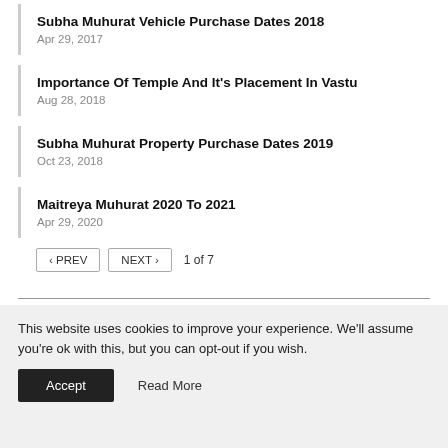Subha Muhurat Vehicle Purchase Dates 2018
Apr 29, 2017
Importance Of Temple And It's Placement In Vastu
Aug 28, 2018
Subha Muhurat Property Purchase Dates 2019
Oct 23, 2018
Maitreya Muhurat 2020 To 2021
Apr 29, 2020
PREV  NEXT  1 of 7
This website uses cookies to improve your experience. We'll assume you're ok with this, but you can opt-out if you wish.
Accept   Read More